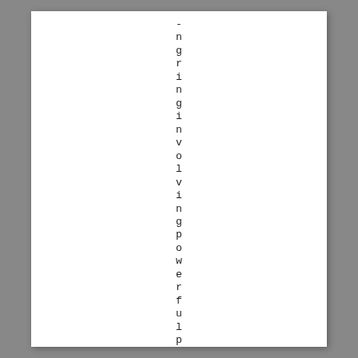-
ng
ri
ng
in
gi
nv
ol
vi
ng
gp
ow
er
fu
lp